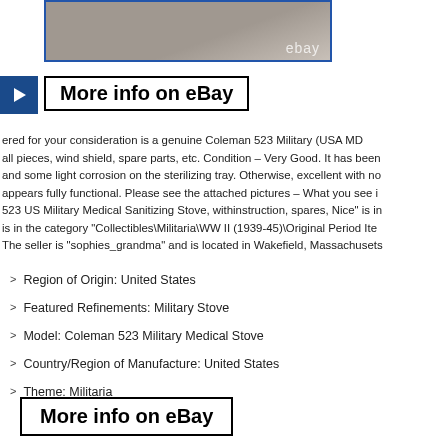[Figure (photo): Photo of Coleman 523 Military stove item with 'ebay' watermark text]
More info on eBay
ered for your consideration is a genuine Coleman 523 Military (USA MD all pieces, wind shield, spare parts, etc. Condition – Very Good. It has been and some light corrosion on the sterilizing tray. Otherwise, excellent with no appears fully functional. Please see the attached pictures – What you see i 523 US Military Medical Sanitizing Stove, withinstruction, spares, Nice" is i is in the category "Collectibles\Militaria\WW II (1939-45)\Original Period Ite The seller is "sophies_grandma" and is located in Wakefield, Massachuset
Region of Origin: United States
Featured Refinements: Military Stove
Model: Coleman 523 Military Medical Stove
Country/Region of Manufacture: United States
Theme: Militaria
Original/Reproduction: Original
Conflict: WW II (1939-45)
More info on eBay